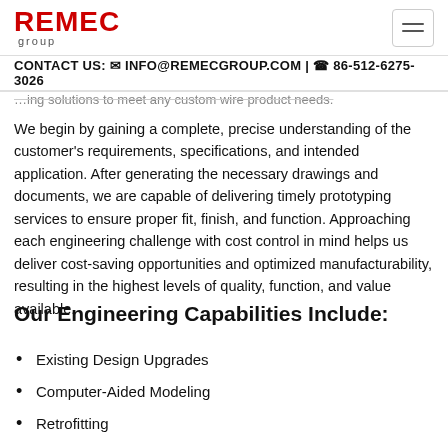REMEC group
CONTACT US: INFO@REMECGROUP.COM | 86-512-6275-3026
...ing solutions to meet any custom wire product needs.
We begin by gaining a complete, precise understanding of the customer's requirements, specifications, and intended application. After generating the necessary drawings and documents, we are capable of delivering timely prototyping services to ensure proper fit, finish, and function. Approaching each engineering challenge with cost control in mind helps us deliver cost-saving opportunities and optimized manufacturability, resulting in the highest levels of quality, function, and value available.
Our Engineering Capabilities Include:
Existing Design Upgrades
Computer-Aided Modeling
Retrofitting
Component and Connector Selection